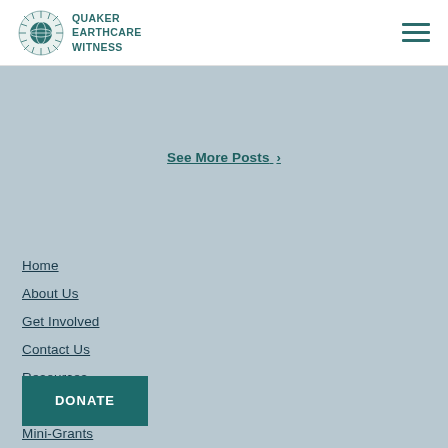Quaker Earthcare Witness
See More Posts >
Home
About Us
Get Involved
Contact Us
Resources
Workshops
Mini-Grants
Featured in the Media
DONATE